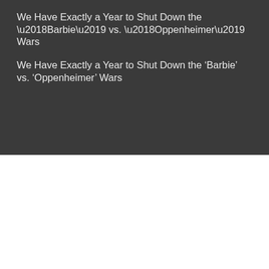We Have Exactly a Year to Shut Down the ‘Barbie’ vs. ‘Oppenheimer’ Wars
Long Live Men! Our Moonshot Mission for Mankind and Humanity
FitDoc Presents The Bodybuilding Journey: Lee Labrada
Get Full-Body Fit With This AMRAP Dumbbell Workout
Watch Strongman Martins Licis Train With Deadlifter
We use cookies on our website to give you the most relevant experience by remembering your preferences and repeat visits. By clicking “Accept All”, you consent to the use of ALL the cookies. However, you may visit "Cookie Settings" to provide a controlled consent.
Cookie Settings | Accept All
[Figure (logo): TrustedSite CERTIFIED SECURE badge with green checkmark]